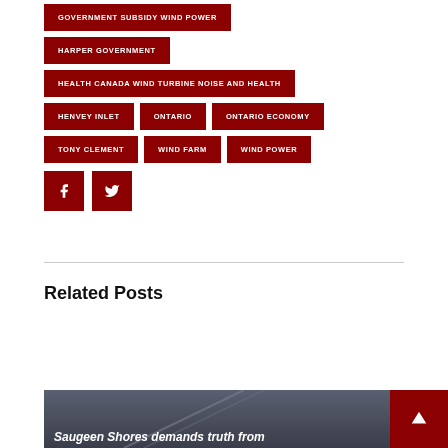GOVERNMENT SUBSIDY WIND POWER
HARPER GOVERNMENT
HEALTH CANADA WIND TURBINE NOISE AND HEALTH
HENVEY INLET
ONTARIO
ONTARIO ECONOMY
TONY CLEMENT
WIND FARM
WIND POWER
[Figure (other): Facebook share button (dark red square with white f icon)]
[Figure (other): Twitter share button (dark red square with white bird icon)]
Related Posts
[Figure (photo): Partial image of wind turbines with dark blue-grey sky, partially visible text 'Saugeen Shores demands truth from' and a red badge with upward arrow icon in upper right corner]